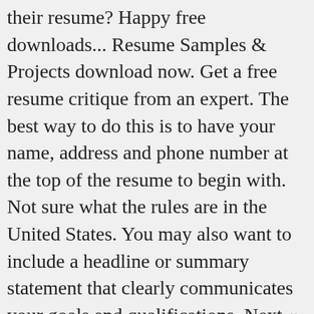their resume? Happy free downloads... Resume Samples & Projects download now. Get a free resume critique from an expert. The best way to do this is to have your name, address and phone number at the top of the resume to begin with. Not sure what the rules are in the United States. You may also want to include a headline or summary statement that clearly communicates your goals and qualifications. Next « Prev Post. Introduce yourself and your history To captivate recruiters, it is important that you prove from the get-go, that you are motivated to continue doing accounting work. One of the best ways to break into the finance industry as a new certified public accountant is with a compelling resume. When writing your resume, be sure to reference the job description and highlight any skills, awards and certifications that match with the requirements. New comments cannot be posted and votes cannot be cast, **The subreddit for CPA Candidates** Here is a sample of certified public